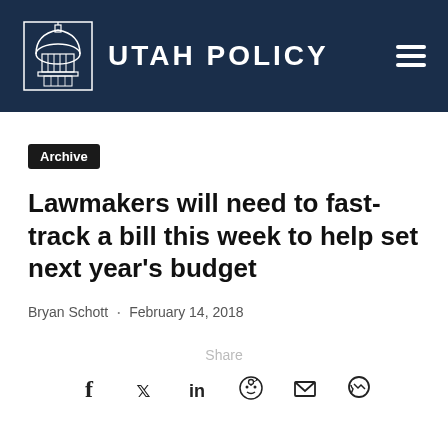Utah Policy
Archive
Lawmakers will need to fast-track a bill this week to help set next year's budget
Bryan Schott · February 14, 2018
Share